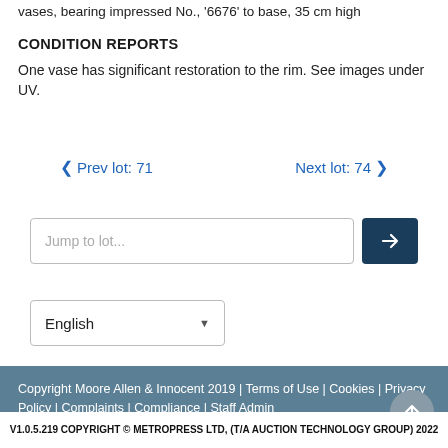vases, bearing impressed No., '6676' to base, 35 cm high
CONDITION REPORTS
One vase has significant restoration to the rim. See images under UV.
< Prev lot: 71    Next lot: 74 >
Jump to lot...
English
Copyright Moore Allen & Innocent 2019 | Terms of Use | Cookies | Privacy Policy | Complaints | Compliance | Staff Admin
V1.0.5.219 COPYRIGHT © METROPRESS LTD, (T/A AUCTION TECHNOLOGY GROUP) 2022